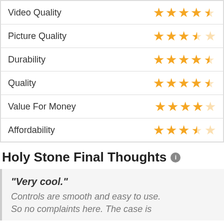| Category | Rating |
| --- | --- |
| Video Quality | 4.5 stars |
| Picture Quality | 3.5 stars |
| Durability | 4.5 stars |
| Quality | 4.5 stars |
| Value For Money | 4 stars |
| Affordability | 3.5 stars |
Holy Stone Final Thoughts
"Very cool."
Controls are smooth and easy to use. So no complaints here. The case is